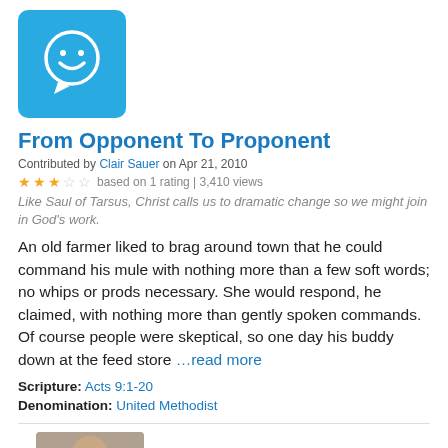[Figure (logo): Blue speech bubble with smiley face logo]
From Opponent To Proponent
Contributed by Clair Sauer on Apr 21, 2010
★★★☆☆ based on 1 rating | 3,410 views
Like Saul of Tarsus, Christ calls us to dramatic change so we might join in God's work.
An old farmer liked to brag around town that he could command his mule with nothing more than a few soft words; no whips or prods necessary. She would respond, he claimed, with nothing more than gently spoken commands. Of course people were skeptical, so one day his buddy down at the feed store …read more
Scripture: Acts 9:1-20
Denomination: United Methodist
[Figure (photo): Partial photo of a person at the bottom of the page]